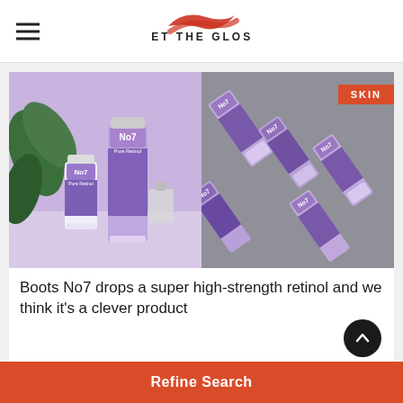GET THE GLOSS
[Figure (photo): No7 Pure Retinol skincare products — two photos side by side. Left: No7 Pure Retinol tubes on a purple background with a plant. Right: Multiple No7 Pure Retinol tubes arranged diagonally on a grey background, with a red SKIN badge.]
Boots No7 drops a super high-strength retinol and we think it's a clever product
Refine Search